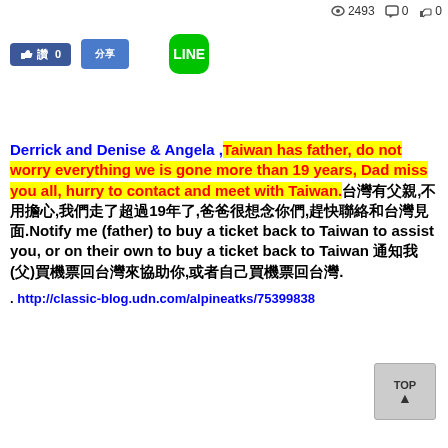👁 2493   🗨 0   👍 0
[Figure (screenshot): Social media buttons: Facebook like (0), share, and LINE app button]
Derrick and Denise & Angela ,Taiwan has father, do not worry everything we is gone more than 19 years, Dad miss you all, hurry to contact and meet with Taiwan.台灣有父親,不用擔心,我們走了超過19年了,爸爸很想念你們,趕快聯絡和台灣見面.Notify me (father) to buy a ticket back to Taiwan to assist you, or on their own to buy a ticket back to Taiwan 通知我(父)買機票回台灣來協助你,或者自己買機票回台灣.
. http://classic-blog.udn.com/alpineatks/75399838